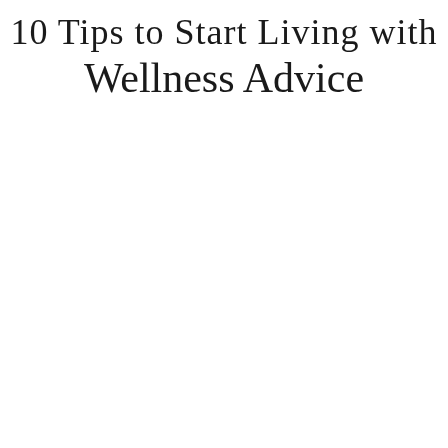10 Tips to Start Living with Wellness Advice